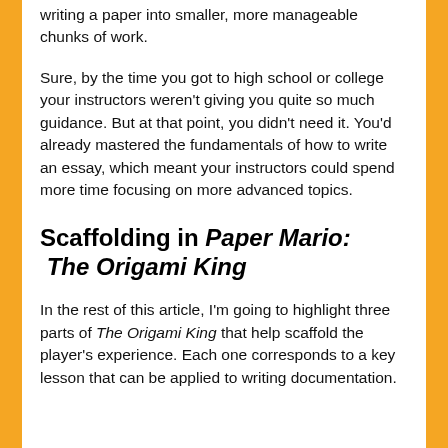writing a paper into smaller, more manageable chunks of work.
Sure, by the time you got to high school or college your instructors weren't giving you quite so much guidance. But at that point, you didn't need it. You'd already mastered the fundamentals of how to write an essay, which meant your instructors could spend more time focusing on more advanced topics.
Scaffolding in Paper Mario: The Origami King
In the rest of this article, I'm going to highlight three parts of The Origami King that help scaffold the player's experience. Each one corresponds to a key lesson that can be applied to writing documentation.